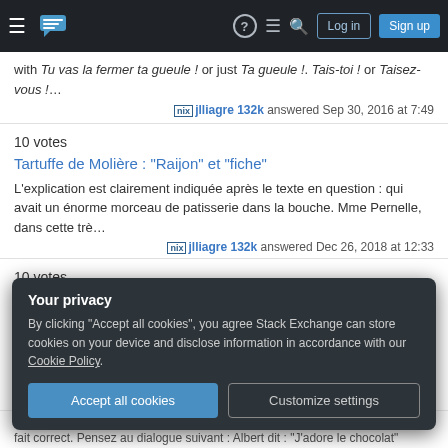Stack Exchange navigation bar with hamburger menu, logo, help, chat, search icons, Log in and Sign up buttons
with Tu vas la fermer ta gueule ! or just Ta gueule !. Tais-toi ! or Taisez-vous !…
jlliagre 132k answered Sep 30, 2016 at 7:49
10 votes
Tartuffe de Molière : "Raijon" et "fiche"
L'explication est clairement indiquée après le texte en question : qui avait un énorme morceau de patisserie dans la bouche. Mme Pernelle, dans cette trè…
jlliagre 132k answered Dec 26, 2018 at 12:33
10 votes
Les différents langages du français
Your privacy
By clicking "Accept all cookies", you agree Stack Exchange can store cookies on your device and disclose information in accordance with our Cookie Policy.
Accept all cookies
Customize settings
Moi je  n'est pas forcement à éviter a l'oral. Il peut être indispensable et tout à fait correct. Pensez au dialogue suivant : Albert dit : "J'adore le chocolat"